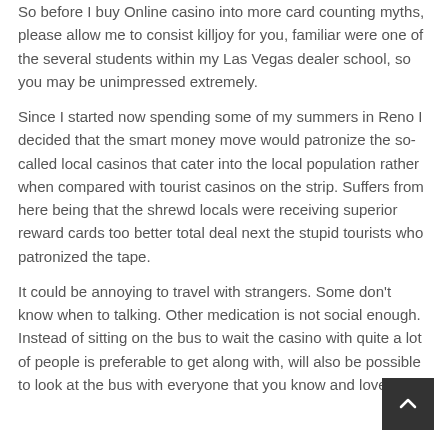So before I buy Online casino into more card counting myths, please allow me to consist killjoy for you, familiar were one of the several students within my Las Vegas dealer school, so you may be unimpressed extremely.
Since I started now spending some of my summers in Reno I decided that the smart money move would patronize the so-called local casinos that cater into the local population rather when compared with tourist casinos on the strip. Suffers from here being that the shrewd locals were receiving superior reward cards too better total deal next the stupid tourists who patronized the tape.
It could be annoying to travel with strangers. Some don't know when to talking. Other medication is not social enough. Instead of sitting on the bus to wait the casino with quite a lot of people is preferable to get along with, will also be possible to look at the bus with everyone that you know and love.